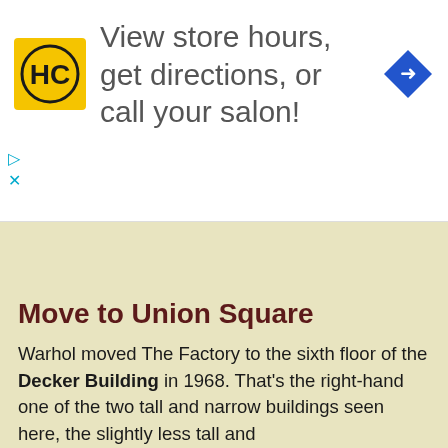[Figure (other): Advertisement banner with HC (Hair Club) logo on yellow square, navigation arrow icon in blue diamond, and text 'View store hours, get directions, or call your salon!']
Move to Union Square
Warhol moved The Factory to the sixth floor of the Decker Building in 1968. That's the right-hand one of the two tall and narrow buildings seen here, the slightly less tall and